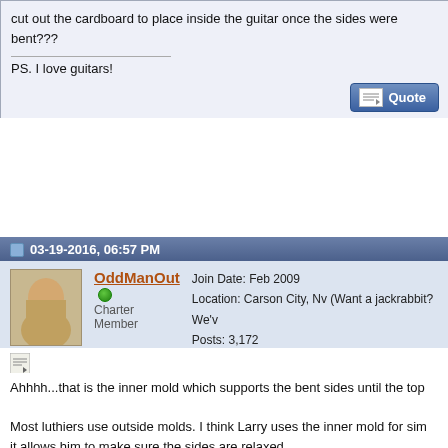cut out the cardboard to place inside the guitar once the sides were bent???
PS. I love guitars!
03-19-2016, 06:57 PM
OddManOut — Charter Member
Join Date: Feb 2009
Location: Carson City, Nv (Want a jackrabbit? We've...
Posts: 3,172
Ahhhh...that is the inner mold which supports the bent sides until the top...
Most luthiers use outside molds. I think Larry uses the inner mold for simplicity and it allows him to make sure the sides are relaxed.
Martin 00-18G; Eastman 805; Waterloo WL-S; Furch: Yellow OOM-CR, W... SR; Tahoe Guitar Co.: OM (Adi/Hog), 000-12 (Carp/FG Hog), 00-12 (Car... Hog), 00-14 (Adi/Ovangkol); Cordoba Mini II
Being paid in gold
Just to babble in the back room
Last edited by OddManOut; 03-19-2016 at 08:06 PM.